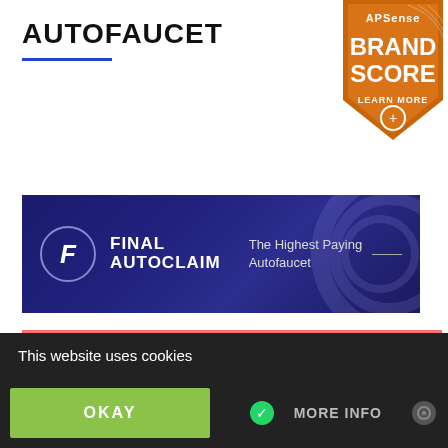AUTOFAUCET
[Figure (logo): APSense Brand Score badge - orange/brown shield shape with text: APSense, BRAND SCORE, LEARN MORE]
[Figure (illustration): Final AutoClaim banner ad - dark blue/purple background with F logo in circle, text: Final AutoClaim, The Highest Paying Autofaucet]
Today is August 22, 2022.
Today is Be an Angel Day!
Today is National Bao Day!
Today is National Eat a Peach Day!
Today is National Pecan Torte Day!
Today is National Tooth Fairy Day!
This website uses cookies
OKAY
MORE INFO